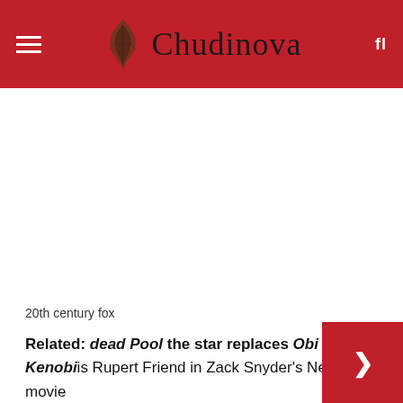Chudinova
[Figure (other): White blank advertisement area below the header]
20th century fox
Related: dead Pool the star replaces Obi Wan Kenobi is Rupert Friend in Zack Snyder's Netflix movie